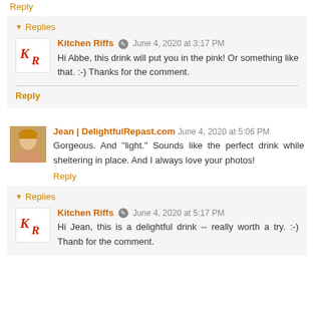Reply
▾ Replies
Kitchen Riffs  June 4, 2020 at 3:17 PM
Hi Abbe, this drink will put you in the pink! Or something like that. :-) Thanks for the comment.
Reply
Jean | DelightfulRepast.com  June 4, 2020 at 5:06 PM
Gorgeous. And "light." Sounds like the perfect drink while sheltering in place. And I always love your photos!
Reply
▾ Replies
Kitchen Riffs  June 4, 2020 at 5:17 PM
Hi Jean, this is a delightful drink -- really worth a try. :-) Thank for the comment.